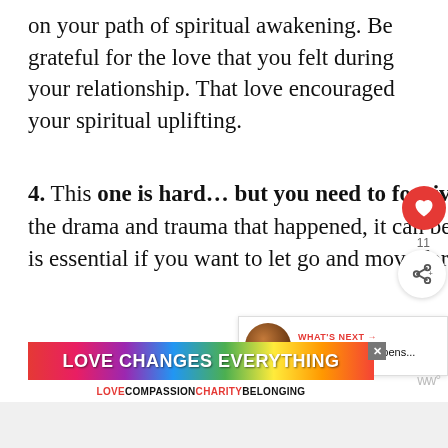on your path of spiritual awakening. Be grateful for the love that you felt during your relationship. That love encouraged your spiritual uplifting.
4. This one is hard… but you need to forgive yourself, and also them. With all the drama and trauma that happened, it can be hard not to be bitter. But, forgiveness is essential if you want to let go and move forward.
[Figure (screenshot): Ad banner reading LOVE CHANGES EVERYTHING with rainbow gradient background, and sub-text LOVE COMPASSION CHARITY BELONGING]